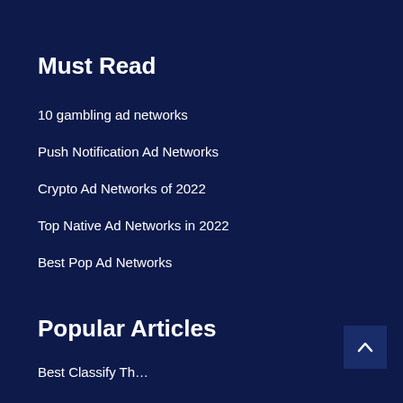Must Read
10 gambling ad networks
Push Notification Ad Networks
Crypto Ad Networks of 2022
Top Native Ad Networks in 2022
Best Pop Ad Networks
Popular Articles
Best Classify Th…